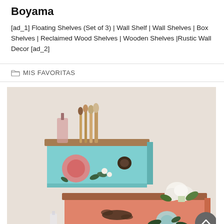Boyama
[ad_1] Floating Shelves (Set of 3) | Wall Shelf | Wall Shelves | Box Shelves | Reclaimed Wood Shelves | Wooden Shelves |Rustic Wall Decor [ad_2]
MIS FAVORITAS
[Figure (photo): Two decorative rustic wooden box shelves mounted on a wall. The upper shelf is painted in turquoise/teal with pink and white floral decor and contains makeup brushes, a soap dispenser, and other items. The lower shelf is coral/salmon colored with floral and ornate metal hardware decor, with white flowers in a vase on top.]